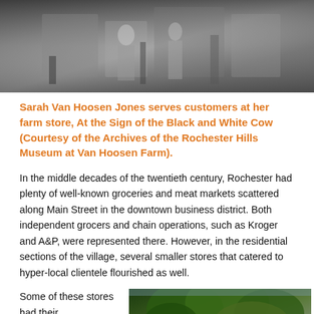[Figure (photo): Black and white historical photograph of Sarah Van Hoosen Jones serving customers at her farm store]
Sarah Van Hoosen Jones serves customers at her farm store, At the Sign of the Black and White Cow (Courtesy of the Archives of the Rochester Hills Museum at Van Hoosen Farm).
In the middle decades of the twentieth century, Rochester had plenty of well-known groceries and meat markets scattered along Main Street in the downtown business district. Both independent grocers and chain operations, such as Kroger and A&P, were represented there. However, in the residential sections of the village, several smaller stores that catered to hyper-local clientele flourished as well.
Some of these stores had their
[Figure (photo): Color photograph of a building partially obscured by large trees]